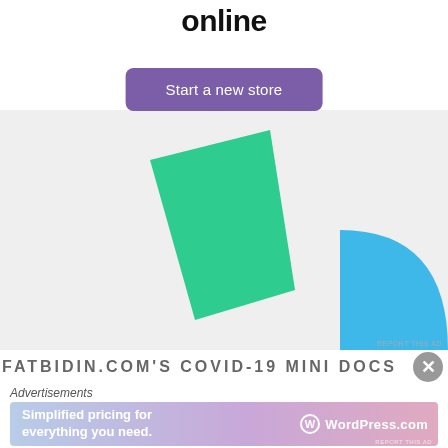[Figure (illustration): Advertisement banner with partial title 'online', a purple 'Start a new store' button, and decorative green and blue geometric shapes on a light grey background.]
online
Start a new store
FATBIDIN.COM'S COVID-19 MINI DOCS FILM COMPETITIO
Advertisements
[Figure (illustration): WordPress.com advertisement banner: 'Simplified pricing for everything you need.' with WordPress.com logo, pink-to-blue gradient background.]